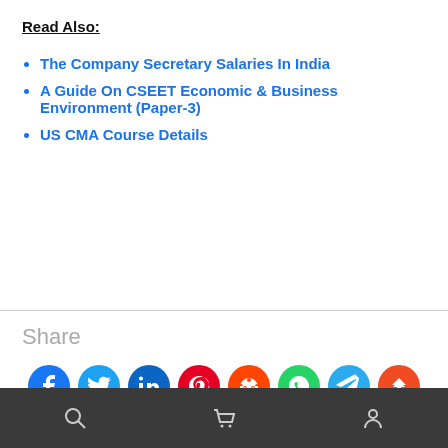Read Also:
The Company Secretary Salaries In India
A Guide On CSEET Economic & Business Environment (Paper-3)
US CMA Course Details
Share
[Figure (infographic): Social share buttons: Facebook, Twitter, LinkedIn, Pinterest, Reddit, WhatsApp, Telegram, scroll-to-top]
Search | Cart | User account icons